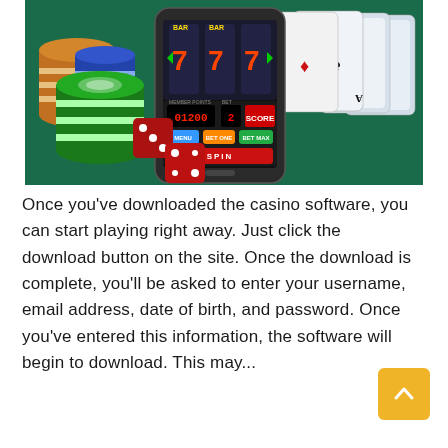[Figure (photo): A smartphone displaying a casino slot machine app showing triple 7s, surrounded by colorful poker chips, playing cards spread out, and red dice on a dark green felt surface.]
Once you've downloaded the casino software, you can start playing right away. Just click the download button on the site. Once the download is complete, you'll be asked to enter your username, email address, date of birth, and password. Once you've entered this information, the software will begin to download. This may...